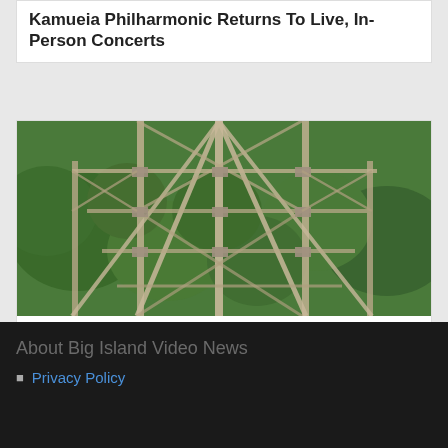Kamueia Philharmonic Returns To Live, In-Person Concerts
[Figure (photo): Aerial view of a large steel lattice bridge tower structure surrounded by green trees, photographed from above looking down at the metal framework.]
Nanue Bridge: Temporary 12-Ton Weight Limit To Be Removed
About Big Island Video News
Privacy Policy